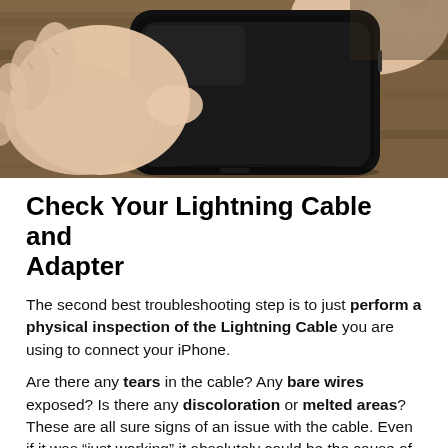[Figure (photo): A person holding a black iPhone/smartphone with both hands, resting on a wooden surface, viewed from above. The phone screen is dark/off.]
Check Your Lightning Cable and Adapter
The second best troubleshooting step is to just perform a physical inspection of the Lightning Cable you are using to connect your iPhone.
Are there any tears in the cable? Any bare wires exposed? Is there any discoloration or melted areas? These are all sure signs of an issue with the cable. Even if it was “just working” it absolutely could be the cause of your issues.